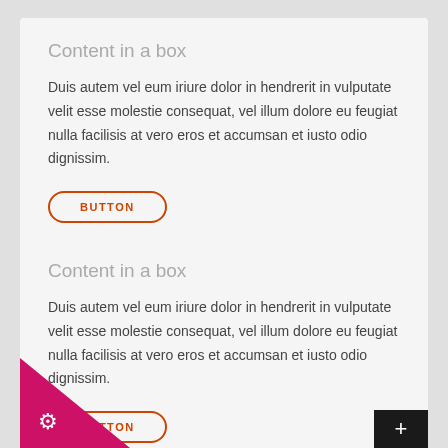Content in a box
Duis autem vel eum iriure dolor in hendrerit in vulputate velit esse molestie consequat, vel illum dolore eu feugiat nulla facilisis at vero eros et accumsan et iusto odio dignissim.
BUTTON
Content in a box
Duis autem vel eum iriure dolor in hendrerit in vulputate velit esse molestie consequat, vel illum dolore eu feugiat nulla facilisis at vero eros et accumsan et iusto odio dignissim.
BUTTON